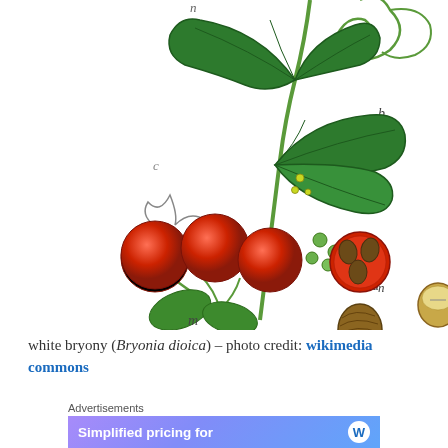[Figure (illustration): Botanical illustration of white bryony (Bryonia dioica) showing leaves, tendrils, red berries on a stem (labeled m), a cross-section of berry (labeled n), a seed (labeled o), seed parts (labeled p, q), flower outline (labeled c), and plant stem with small berries (labeled a, b). Detailed scientific botanical drawing with labeled parts.]
white bryony (Bryonia dioica) – photo credit: wikimedia commons
Advertisements
[Figure (screenshot): Advertisement banner with gradient purple-blue background. Text reads 'Simplified pricing for' on the left, and a WordPress.com logo on the right.]